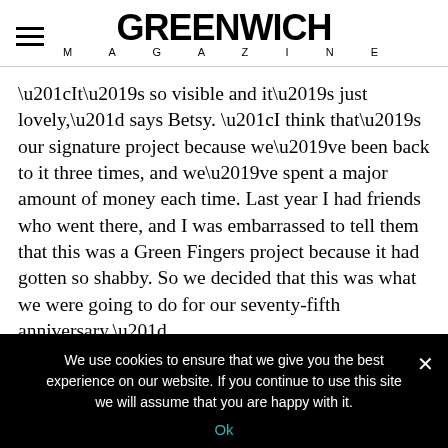GREENWICH MAGAZINE
“It’s so visible and it’s just lovely,” says Betsy. “I think that’s our signature project because we’ve been back to it three times, and we’ve spent a major amount of money each time. Last year I had friends who went there, and I was embarrassed to tell them that this was a Green Fingers project because it had gotten so shabby. So we decided that this was what we were going to do for our seventy-fifth anniversary.”
We use cookies to ensure that we give you the best experience on our website. If you continue to use this site we will assume that you are happy with it.
Ok